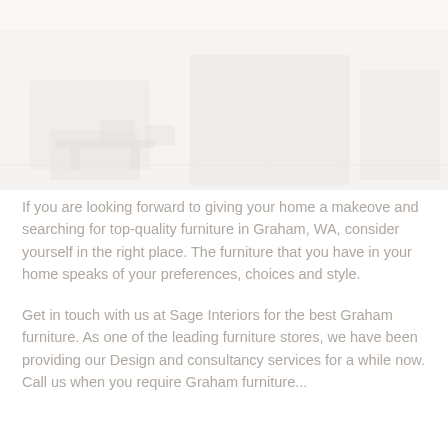[Figure (photo): Faded/washed-out photo of a furniture showroom or home interior with chairs and tables visible]
If you are looking forward to giving your home a makeove and searching for top-quality furniture in Graham, WA, consider yourself in the right place. The furniture that you have in your home speaks of your preferences, choices and style.
Get in touch with us at Sage Interiors for the best Graham furniture. As one of the leading furniture stores, we have been providing our Design and consultancy services for a while now. Call us when you require Graham furniture...